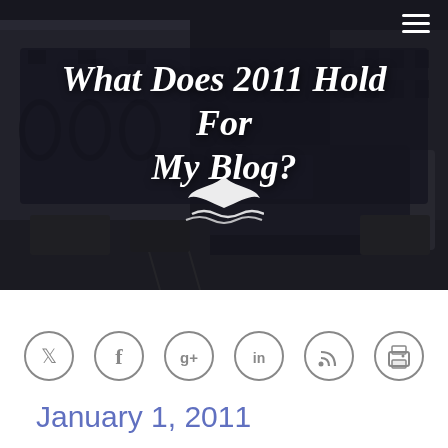[Figure (photo): Grayscale street scene with a bus in the center and classical buildings on either side. White whale/fish tail logo on the bus front. Dark overlay applied.]
What Does 2011 Hold For My Blog?
[Figure (infographic): Row of six circular social media icons: Twitter, Facebook, Google+, LinkedIn, RSS, Print]
January 1, 2011